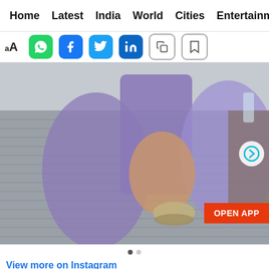Home  Latest  India  World  Cities  Entertainment
[Figure (screenshot): Toolbar with font size icon (aA), WhatsApp, Facebook, Twitter, LinkedIn share buttons, and copy/bookmark icons]
[Figure (photo): A person in a purple bikini top and wrap/sarong standing on a wooden deck, wearing silver bangles and rings. An 'OPEN APP' button overlay and navigation arrow are visible.]
View more on Instagram